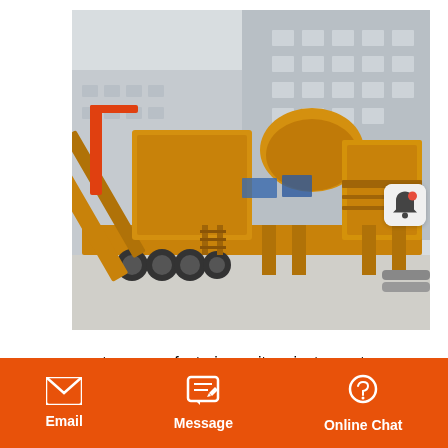[Figure (photo): Large yellow mobile crushing/screening unit (industrial mining equipment on a trailer chassis) parked outdoors in front of a grey concrete building. The machinery is mounted on a semi-trailer with multiple axles.]
pp strap manufacturing unit project report
Email | Message | Online Chat